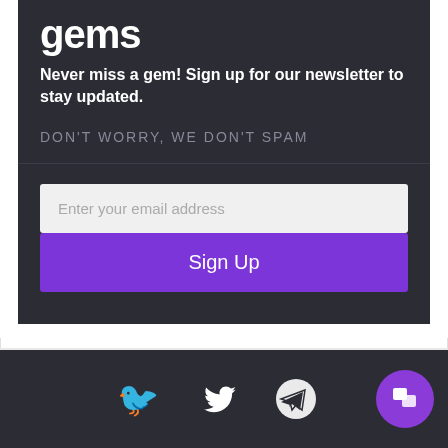gems
Never miss a gem! Sign up for our newsletter to stay updated.
DON'T WORRY, WE DON'T SPAM
Enter your email address
Sign Up
[Figure (infographic): Footer bar with Twitter bird icon and Telegram paper plane icon, and a purple circular chat button with speech bubble icon on the right]